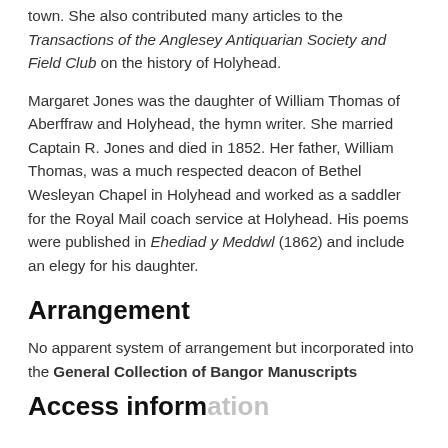town. She also contributed many articles to the Transactions of the Anglesey Antiquarian Society and Field Club on the history of Holyhead.
Margaret Jones was the daughter of William Thomas of Aberffraw and Holyhead, the hymn writer. She married Captain R. Jones and died in 1852. Her father, William Thomas, was a much respected deacon of Bethel Wesleyan Chapel in Holyhead and worked as a saddler for the Royal Mail coach service at Holyhead. His poems were published in Ehediad y Meddwl (1862) and include an elegy for his daughter.
Arrangement
No apparent system of arrangement but incorporated into the General Collection of Bangor Manuscripts
Access information